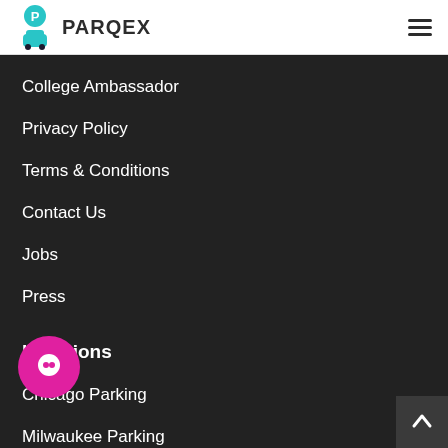PARQEX
College Ambassador
Privacy Policy
Terms & Conditions
Contact Us
Jobs
Press
Locations
Chicago Parking
Milwaukee Parking
Nashville Parking
Boston Parking